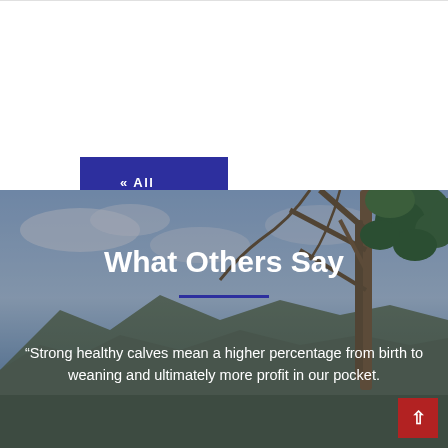<< All Breeders
[Figure (photo): Outdoor landscape background with eucalyptus tree branches and leaves on the right, rocky hillside in the middle background, and blue cloudy sky. The image serves as a decorative background for the 'What Others Say' testimonial section.]
What Others Say
“Strong healthy calves mean a higher percentage from birth to weaning and ultimately more profit in our pocket.